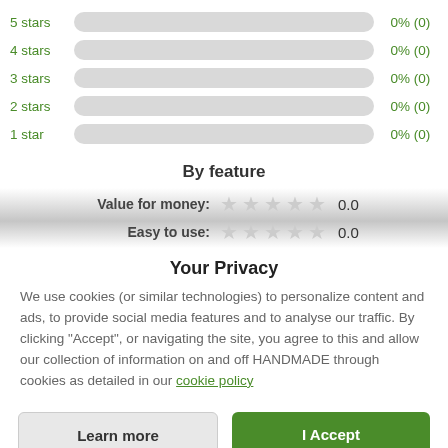[Figure (bar-chart): Star rating distribution]
By feature
Value for money: ★★★★★ 0.0
Easy to use: ★★★★★ 0.0
Your Privacy
We use cookies (or similar technologies) to personalize content and ads, to provide social media features and to analyse our traffic. By clicking "Accept", or navigating the site, you agree to this and allow our collection of information on and off HANDMADE through cookies as detailed in our cookie policy
Learn more
I Accept